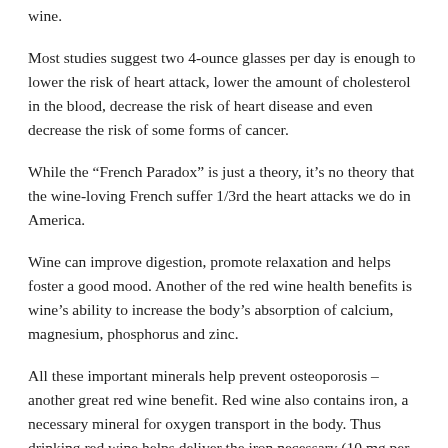wine.
Most studies suggest two 4-ounce glasses per day is enough to lower the risk of heart attack, lower the amount of cholesterol in the blood, decrease the risk of heart disease and even decrease the risk of some forms of cancer.
While the “French Paradox” is just a theory, it’s no theory that the wine-loving French suffer 1/3rd the heart attacks we do in America.
Wine can improve digestion, promote relaxation and helps foster a good mood. Another of the red wine health benefits is wine’s ability to increase the body’s absorption of calcium, magnesium, phosphorus and zinc.
All these important minerals help prevent osteoporosis – another great red wine benefit. Red wine also contains iron, a necessary mineral for oxygen transport in the body. Thus drinking red wine helps deliver the iron necessary (10 mg per day for men, 15 mg per day for women) and it’s